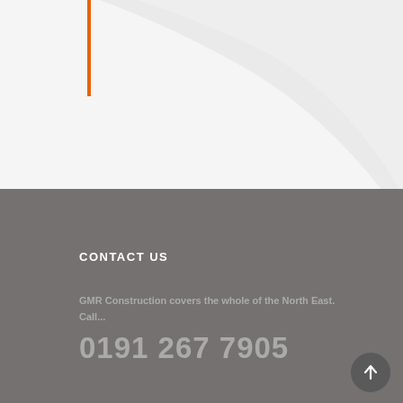[Figure (illustration): Light grey background with a large curved swoosh shape and an orange vertical bar accent on the left side]
CONTACT US
GMR Construction covers the whole of the North East. Call...
0191 267 7905